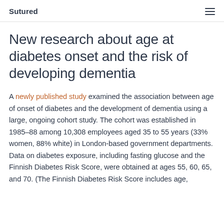Sutured
New research about age at diabetes onset and the risk of developing dementia
A newly published study examined the association between age of onset of diabetes and the development of dementia using a large, ongoing cohort study. The cohort was established in 1985–88 among 10,308 employees aged 35 to 55 years (33% women, 88% white) in London-based government departments. Data on diabetes exposure, including fasting glucose and the Finnish Diabetes Risk Score, were obtained at ages 55, 60, 65, and 70. (The Finnish Diabetes Risk Score includes age,